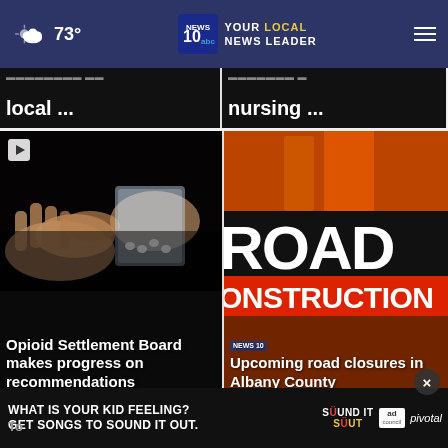73° NEWS 10 YOUR LOCAL NEWS LEADER
local ...
nursing ...
[Figure (photo): Hands holding a plastic bag with pills, drug transaction scene]
Opioid Settlement Board makes progress on recommendations
[Figure (photo): Road Construction sign with orange and white text]
Upcoming road closures in Albany County
[Figure (photo): Advertisement banner: What is your kid feeling? Get songs to sound it out. Sound It Out campaign by Ad Council and Pivotal.]